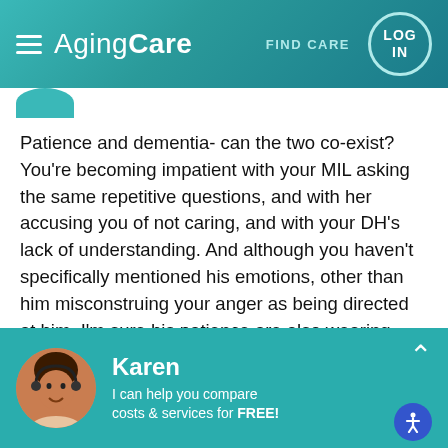AgingCare — FIND CARE — LOG IN
Patience and dementia- can the two co-exist? You're becoming impatient with your MIL asking the same repetitive questions, and with her accusing you of not caring, and with your DH's lack of understanding. And although you haven't specifically mentioned his emotions, other than him misconstruing your anger as being directed at him, I'm sure his patience are also wearing thin.

As a previous caregiver for my wife, I've come to
Karen
I can help you compare costs & services for FREE!